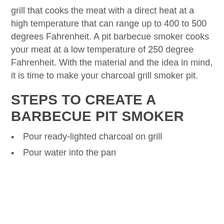grill that cooks the meat with a direct heat at a high temperature that can range up to 400 to 500 degrees Fahrenheit. A pit barbecue smoker cooks your meat at a low temperature of 250 degree Fahrenheit. With the material and the idea in mind, it is time to make your charcoal grill smoker pit.
STEPS TO CREATE A BARBECUE PIT SMOKER
Pour ready-lighted charcoal on grill
Pour water into the pan